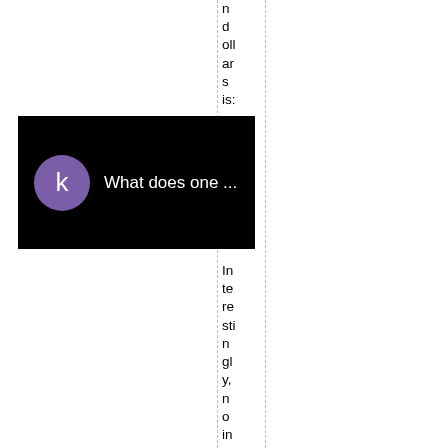nd ollars is:
[Figure (screenshot): Video thumbnail with black background, purple avatar with letter 'k', and text 'What does one ...']
Interestingly, no investigatio